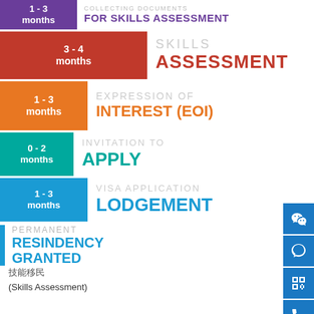[Figure (infographic): Timeline infographic showing visa application stages with colored time boxes: 1-3 months (purple) Collecting Documents for Skills Assessment, 3-4 months (dark red) Skills Assessment, 1-3 months (orange) Expression of Interest (EOI), 0-2 months (teal) Invitation to Apply, 1-3 months (blue) Visa Application Lodgement, then Permanent Residency Granted]
技能移民 (Skills Assessment)